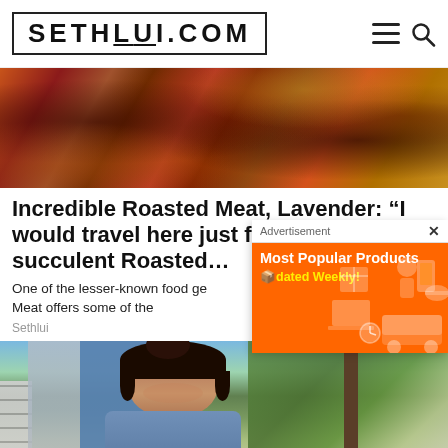SETHLUI.COM
[Figure (photo): Close-up photo of roasted meat dishes with dark glazed cuts on a plate]
Incredible Roasted Meat, Lavender: “I would travel here just for these succulent Roasted…
One of the lesser-known food ge… Roasted Meat offers some of the…
Sethlui
[Figure (screenshot): Advertisement overlay showing orange banner for 'Most Popular Products Updated Weekly!' with shopping icons]
[Figure (photo): Photo of a young woman smiling outdoors in front of a building with fencing and trees in background]